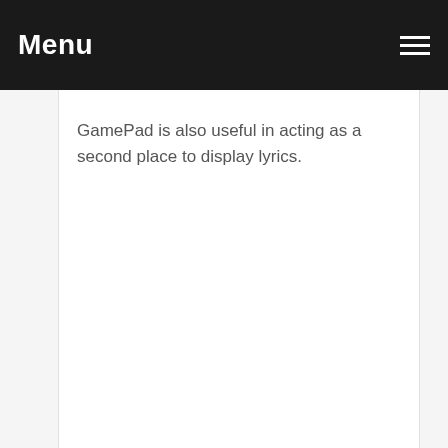Menu
GamePad is also useful in acting as a second place to display lyrics.